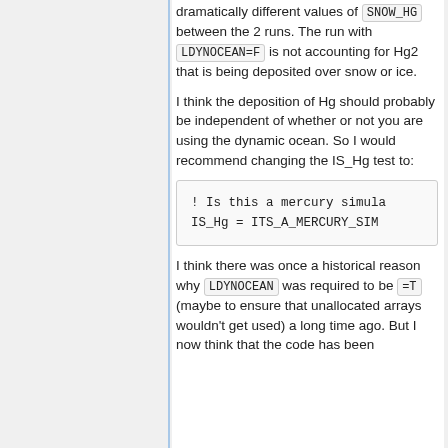dramatically different values of SNOW_HG between the 2 runs. The run with LDYNOCEAN=F is not accounting for Hg2 that is being deposited over snow or ice.
I think the deposition of Hg should probably be independent of whether or not you are using the dynamic ocean. So I would recommend changing the IS_Hg test to:
! Is this a mercury simula...
IS_Hg = ITS_A_MERCURY_SIM...
I think there was once a historical reason why LDYNOCEAN was required to be =T (maybe to ensure that unallocated arrays wouldn't get used) a long time ago. But I now think that the code has been...